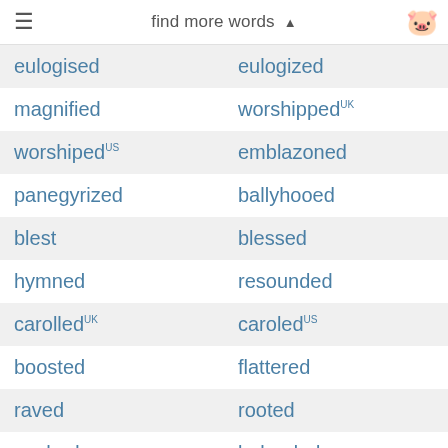find more words
eulogised | eulogized
magnified | worshipped UK
worshiped US | emblazoned
panegyrized | ballyhooed
blest | blessed
hymned | resounded
carolled UK | caroled US
boosted | flattered
raved | rooted
pushed | belauded
paid tribute to | sang the praises of
sung the praises of | heaped praise on
bigged up | big upped
cracked up | raved about
waxed lyrical about | made much of